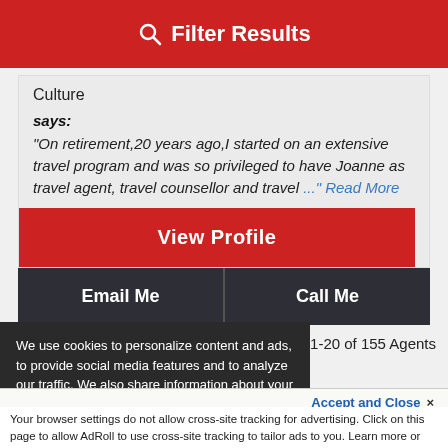Filter Results
Culture
says:
"On retirement,20 years ago,I started on an extensive travel program and was so privileged to have Joanne as travel agent, travel counsellor and travel ..." Read More
View Profile
Email Me
Call Me
wing 1-20 of 155 Agents
We use cookies to personalize content and ads, to provide social media features and to analyze our traffic. We also share information about your use of our site with our social media, advertising and analytics partners. View More
Accept and Close ×
Your browser settings do not allow cross-site tracking for advertising. Click on this page to allow AdRoll to use cross-site tracking to tailor ads to you. Learn more or opt out of this AdRoll tracking by clicking here. This message only appears once.
By Interest